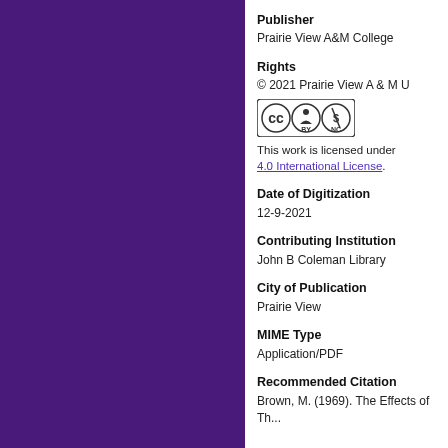Publisher
Prairie View A&M College
Rights
© 2021 Prairie View A & M U
[Figure (logo): Creative Commons BY-NC license badge]
This work is licensed under a Creative Commons Attribution-NonCommercial 4.0 International License.
Date of Digitization
12-9-2021
Contributing Institution
John B Coleman Library
City of Publication
Prairie View
MIME Type
Application/PDF
Recommended Citation
Brown, M. (1969). The Effects of Th...